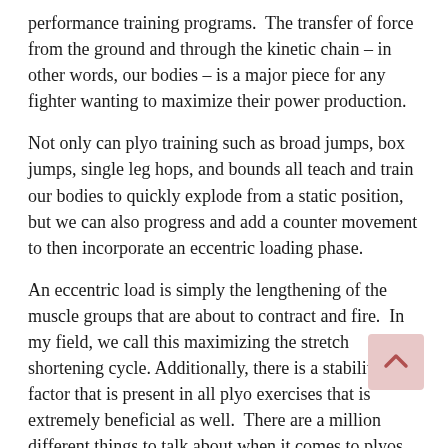performance training programs.  The transfer of force from the ground and through the kinetic chain – in other words, our bodies – is a major piece for any fighter wanting to maximize their power production.
Not only can plyo training such as broad jumps, box jumps, single leg hops, and bounds all teach and train our bodies to quickly explode from a static position, but we can also progress and add a counter movement to then incorporate an eccentric loading phase.
An eccentric load is simply the lengthening of the muscle groups that are about to contract and fire.  In my field, we call this maximizing the stretch shortening cycle. Additionally, there is a stability factor that is present in all plyo exercises that is extremely beneficial as well.  There are a million different things to talk about when it comes to plyos. However, these will be the major points I elaborate on.
For fighters specifically, the transfer of force is major as we all know. Plyometrics are one of the most common tools...